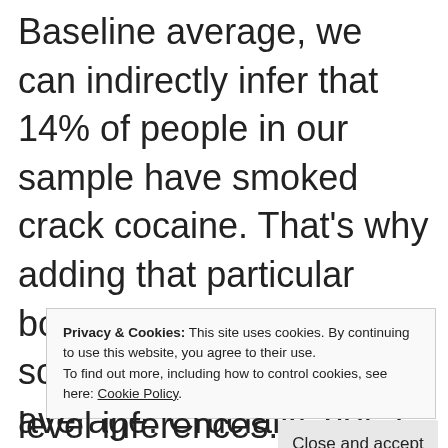Baseline average, we can indirectly infer that 14% of people in our sample have smoked crack cocaine. That's why adding that particular bonus statement led to a score .14 higher on average. Crucially, not a single participant in this study has to tell us that
Privacy & Cookies: This site uses cookies. By continuing to use this website, you agree to their use. To find out more, including how to control cookies, see here: Cookie Policy
Close and accept
level inferences.